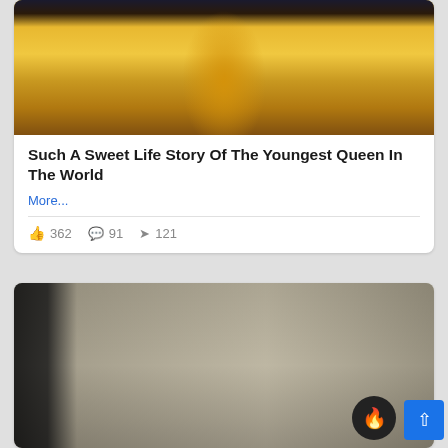[Figure (photo): Woman in traditional Bhutanese golden ceremonial dress with colorful embroidery and red beaded necklace]
Such A Sweet Life Story Of The Youngest Queen In The World
More...
👍 362  💬 91  ➤ 121
[Figure (photo): Interior ceiling corner of a room showing exposed beams, ductwork and black track lighting fixtures on white ceiling]